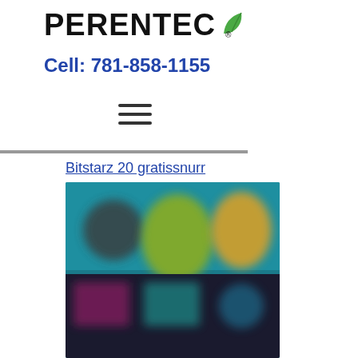[Figure (logo): PERENTEC logo with green leaf icon and registered trademark symbol]
Cell: 781-858-1155
[Figure (other): Hamburger menu icon (three horizontal lines)]
Bitstarz 20 gratissnurr
[Figure (photo): Blurred screenshot of an online casino or gaming website showing colorful game thumbnails]